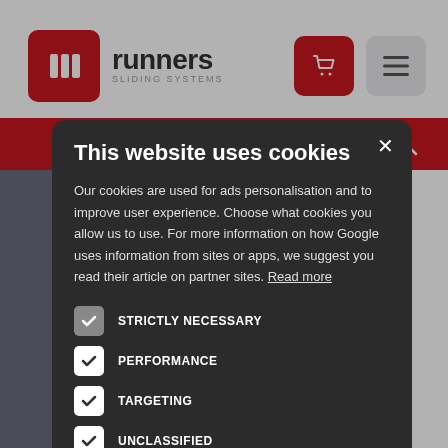[Figure (screenshot): Background website for Runners Sliding Systems with header, red search bar, and partial page content visible behind a cookie consent modal]
This website uses cookies
Our cookies are used for ads personalisation and to improve user experience. Choose what cookies you allow us to use. For more information on how Google uses information from sites or apps, we suggest you read their article on partner sites. Read more
STRICTLY NECESSARY
PERFORMANCE
TARGETING
UNCLASSIFIED
ACCEPT ALL